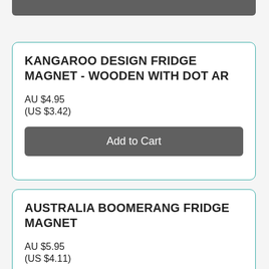KANGAROO DESIGN FRIDGE MAGNET - WOODEN WITH DOT AR
AU $4.95
(US $3.42)
Add to Cart
AUSTRALIA BOOMERANG FRIDGE MAGNET
AU $5.95
(US $4.11)
Add to Cart